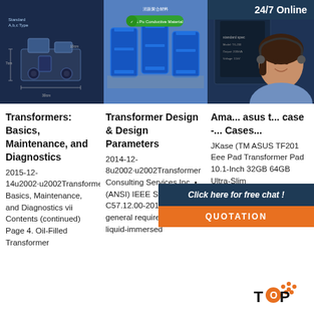[Figure (photo): Machine schematic diagram on dark blue background - Standard A,B,C Type machine with dimensions]
[Figure (photo): Blue industrial barrels/drums with green certification badge and PU & Pu Conductive Material label]
[Figure (photo): Dark blue product/equipment image with 24/7 Online banner and customer service representative with headset overlay, Click here for free chat and QUOTATION button]
Transformers: Basics, Maintenance, and Diagnostics
2015-12-14u2002·u2002Transformers: Basics, Maintenance, and Diagnostics vii Contents (continued) Page 4. Oil-Filled Transformer
Transformer Design & Design Parameters
2014-12-8u2002·u2002Transformer Consulting Services Inc. • (ANSI) IEEE Std C57.12.00-2010, standard general requirements for liquid-immersed
Amaz... asus t... case -... Cases...
JKase (TM ASUS TF201 Eee Pad Transformer Pad 10.1-Inch 32GB 64GB Ultra-Slim